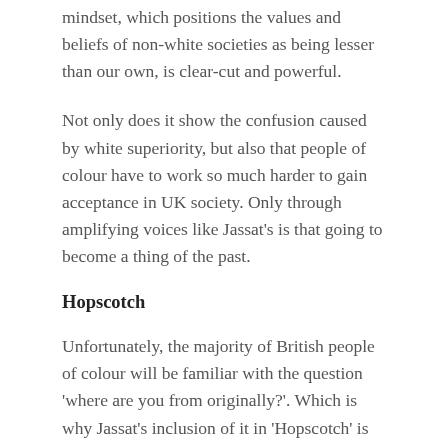mindset, which positions the values and beliefs of non-white societies as being lesser than our own, is clear-cut and powerful.
Not only does it show the confusion caused by white superiority, but also that people of colour have to work so much harder to gain acceptance in UK society. Only through amplifying voices like Jassat's is that going to become a thing of the past.
Hopscotch
Unfortunately, the majority of British people of colour will be familiar with the question 'where are you from originally?'. Which is why Jassat's inclusion of it in 'Hopscotch' is so pertinent. It's the sort of thing that many would associate with a mentality from a bygone era. But